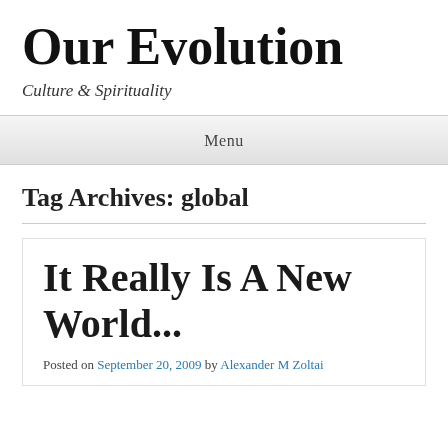Our Evolution
Culture & Spirituality
Menu
Tag Archives: global
It Really Is A New World...
Posted on September 20, 2009 by Alexander M Zoltai